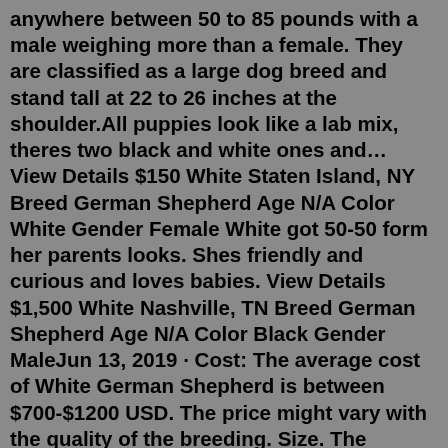anywhere between 50 to 85 pounds with a male weighing more than a female. They are classified as a large dog breed and stand tall at 22 to 26 inches at the shoulder.All puppies look like a lab mix, theres two black and white ones and… View Details $150 White Staten Island, NY Breed German Shepherd Age N/A Color White Gender Female White got 50-50 form her parents looks. Shes friendly and curious and loves babies. View Details $1,500 White Nashville, TN Breed German Shepherd Age N/A Color Black Gender MaleJun 13, 2019 · Cost: The average cost of White German Shepherd is between $700-$1200 USD. The price might vary with the quality of the breeding. Size. The average height of adult White German Shepherd is between 23-25 inches and the weight is between 65-85 pounds. Dog Breeds Similar to White German Shepherd. German Shepherd; White Swiss Shepherd; Siberian Husky While the average German Shepherd puppy may cost between $300 and $1000, a White German Shepherd puppy is more likely to fall in the range of $1000 to $1500. White German